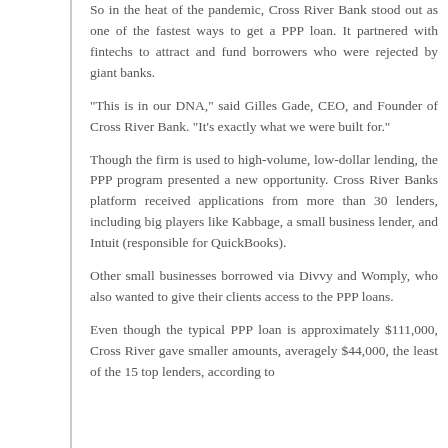So in the heat of the pandemic, Cross River Bank stood out as one of the fastest ways to get a PPP loan. It partnered with fintechs to attract and fund borrowers who were rejected by giant banks.
“This is in our DNA,” said Gilles Gade, CEO, and Founder of Cross River Bank. “It’s exactly what we were built for.”
Though the firm is used to high-volume, low-dollar lending, the PPP program presented a new opportunity. Cross River Banks platform received applications from more than 30 lenders, including big players like Kabbage, a small business lender, and Intuit (responsible for QuickBooks).
Other small businesses borrowed via Divvy and Womply, who also wanted to give their clients access to the PPP loans.
Even though the typical PPP loan is approximately $111,000, Cross River gave smaller amounts, averagely $44,000, the least of the 15 top lenders, according to